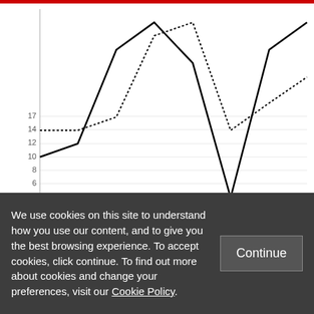[Figure (line-chart): ]
The steep fall in visits made in week 6 coincides with the campaign suspension following Manchester; Theresa May also attended G7 that week, making only two
We use cookies on this site to understand how you use our content, and to give you the best browsing experience. To accept cookies, click continue. To find out more about cookies and change your preferences, visit our Cookie Policy.